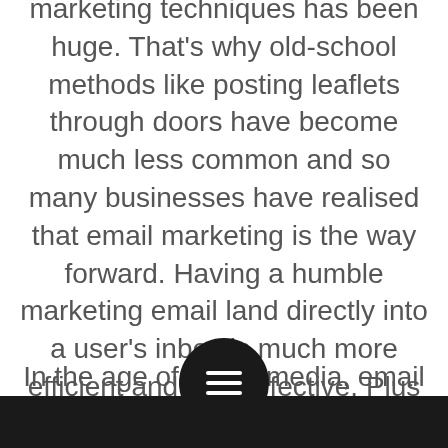marketing techniques has been huge. That's why old-school methods like posting leaflets through doors have become much less common and so many businesses have realised that email marketing is the way forward. Having a humble marketing email land directly into a user's inbox is much more efficient and cost-effective. Plus it's way better for the environment!
In the age of social media, email marketing remains a versatile and vibrant way to instantly connect with your customers and prospects. As a key digital